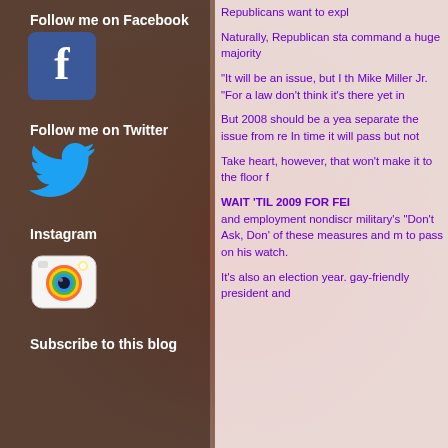Follow me on Facebook
[Figure (logo): Facebook logo icon - blue square with white 'f']
Follow me on Twitter
[Figure (logo): Twitter logo icon - blue bird]
Instagram
[Figure (logo): Instagram camera icon]
Subscribe to this blog
Republicans want to expl
Naturally, Republican sta command a huge majority
"It will be an issue, but I th Mike Miller Jr. "For a law don't think it's there yet in
But 2008 should be a yea separate the issue from re In time it will pass but not
Take heart, however, that won't make it to the floor f
WAIT 'TIL 2009 FOR FED and employment nondiscr military's "Don't Ask, Don' of these measures and m to pass on his watch.
It's also an election year. gay-friendly president and